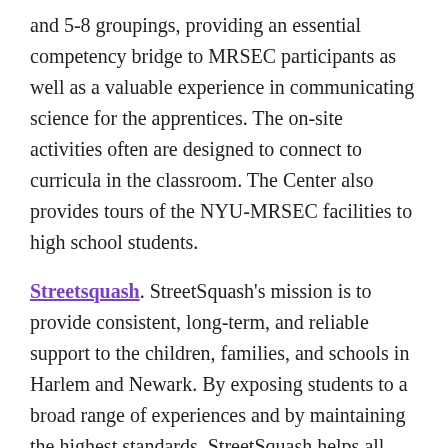and 5-8 groupings, providing an essential competency bridge to MRSEC participants as well as a valuable experience in communicating science for the apprentices. The on-site activities often are designed to connect to curricula in the classroom. The Center also provides tours of the NYU-MRSEC facilities to high school students.
Streetsquash. StreetSquash's mission is to provide consistent, long-term, and reliable support to the children, families, and schools in Harlem and Newark. By exposing students to a broad range of experiences and by maintaining the highest standards, StreetSquash helps all participants realize their academic, athletic, and personal potential.